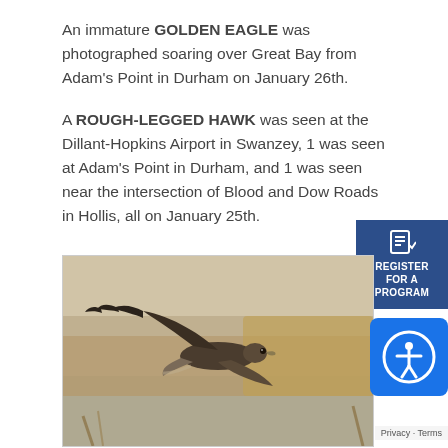An immature GOLDEN EAGLE was photographed soaring over Great Bay from Adam's Point in Durham on January 26th.
A ROUGH-LEGGED HAWK was seen at the Dillant-Hopkins Airport in Swanzey, 1 was seen at Adam's Point in Durham, and 1 was seen near the intersection of Blood and Dow Roads in Hollis, all on January 25th.
[Figure (photo): A hawk or rough-legged hawk in flight over a wetland/marsh area with blurred golden-brown reeds and water in the background.]
[Figure (infographic): Dark blue 'Register for a Program' button with a document/register icon at top.]
[Figure (infographic): Blue accessibility icon button showing a person with arms outstretched in a circle.]
Privacy · Terms